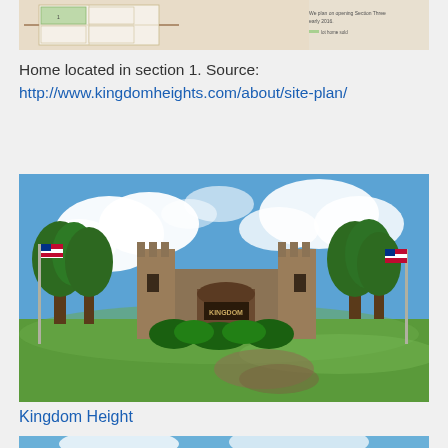[Figure (map): Site plan map showing home location in section 1, partially visible at top of page]
Home located in section 1. Source: http://www.kingdomheights.com/about/site-plan/
[Figure (photo): Photograph of Kingdom Heights entrance gate featuring castle-style stone architecture with turrets, American flags on either side, green lawn, trees, and blue sky with white clouds]
Kingdom Height
[Figure (photo): Photograph partially visible at bottom showing blue sky with clouds and top of a building structure]